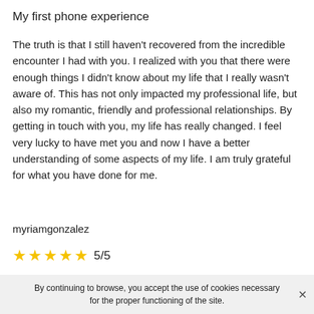My first phone experience
The truth is that I still haven't recovered from the incredible encounter I had with you. I realized with you that there were enough things I didn't know about my life that I really wasn't aware of. This has not only impacted my professional life, but also my romantic, friendly and professional relationships. By getting in touch with you, my life has really changed. I feel very lucky to have met you and now I have a better understanding of some aspects of my life. I am truly grateful for what you have done for me.
myriamgonzalez
★★★★★ 5/5
Very professional psychic
By continuing to browse, you accept the use of cookies necessary for the proper functioning of the site.